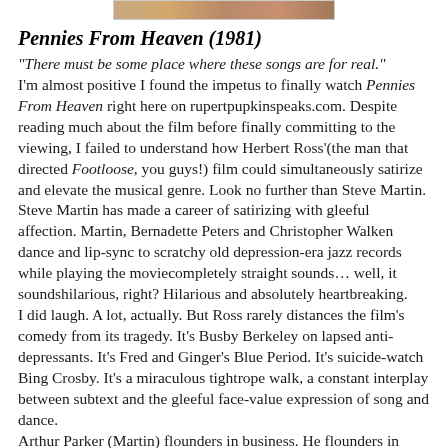[Figure (photo): Top portion of a movie-related image, partially cropped, showing warm brown and tan tones]
Pennies From Heaven (1981)
"There must be some place where these songs are for real." I'm almost positive I found the impetus to finally watch Pennies From Heaven right here on rupertpupkinspeaks.com. Despite reading much about the film before finally committing to the viewing, I failed to understand how Herbert Ross'(the man that directed Footloose, you guys!) film could simultaneously satirize and elevate the musical genre. Look no further than Steve Martin. Steve Martin has made a career of satirizing with gleeful affection. Martin, Bernadette Peters and Christopher Walken dance and lip-sync to scratchy old depression-era jazz records while playing the moviecompletely straight sounds… well, it soundshilarious, right? Hilarious and absolutely heartbreaking.
I did laugh. A lot, actually. But Ross rarely distances the film's comedy from its tragedy. It's Busby Berkeley on lapsed anti-depressants. It's Fred and Ginger's Blue Period. It's suicide-watch Bing Crosby. It's a miraculous tightrope walk, a constant interplay between subtext and the gleeful face-value expression of song and dance.
Arthur Parker (Martin) flounders in business. He flounders in